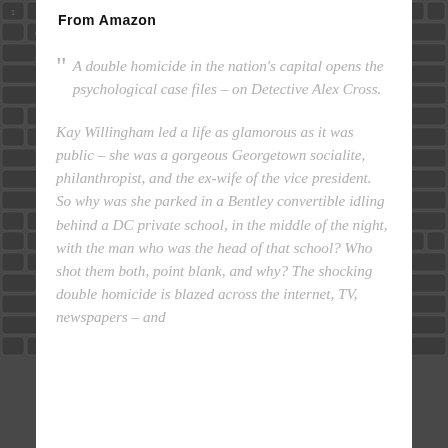From Amazon
A double homicide in the nation's capital opens the psychological case files – on Detective Alex Cross.
Kay Willingham led a life as glamorous as it was public – she was a gorgeous Georgetown socialite, philanthropist, and the ex-wife of the vice president. So why was she parked in a Bentley convertible idling behind a DC private school, in the middle of the night, with the man who was the head of that school? Who shot them both, point blank, and why? The shocking double homicide is blazed across the internet, TV, newspapers – and